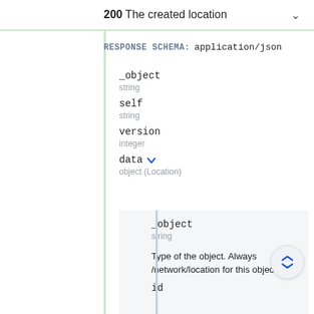200 The created location
RESPONSE SCHEMA: application/json
_object
string
self
string
version
integer
data
object (Location)
_object
string
Type of the object. Always /network/location for this object.
id